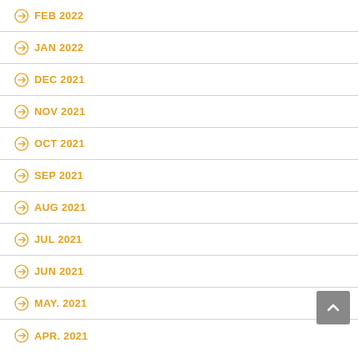FEB 2022
JAN 2022
DEC 2021
NOV 2021
OCT 2021
SEP 2021
AUG 2021
JUL 2021
JUN 2021
MAY. 2021
APR. 2021